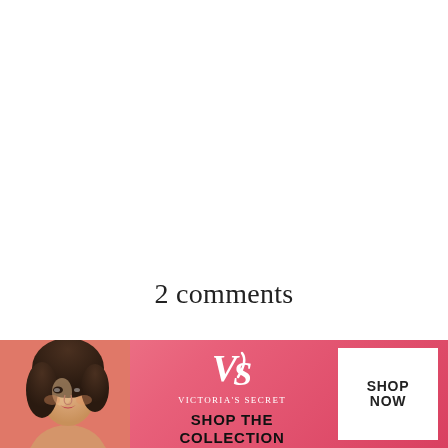2 comments
UNKNOWN
JULY 6, 2015 AT 11:36 AM
[Figure (photo): Victoria's Secret advertisement banner with a female model on a pink background, Victoria's Secret logo, text 'SHOP THE COLLECTION' and a white 'SHOP NOW' button. A close button (x) in the top right corner of the banner.]